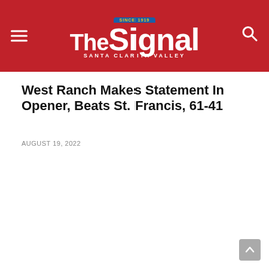The Signal — Santa Clarita Valley — Since 1919
West Ranch Makes Statement In Opener, Beats St. Francis, 61-41
AUGUST 19, 2022